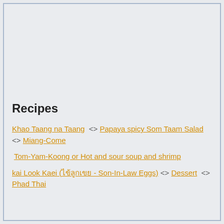Recipes
Khao Taang na Taang <> Papaya spicy Som Taam Salad <> Miang-Come
Tom-Yam-Koong or Hot and sour soup and shrimp
kai Look Kaei (ไข่ลูกเขย - Son-In-Law Eggs) <> Dessert <> Phad Thai